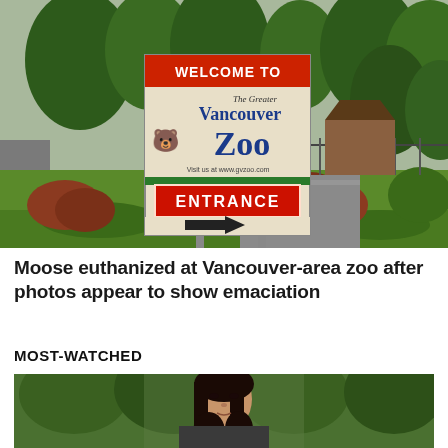[Figure (photo): Outdoor photo of the Greater Vancouver Zoo entrance sign. The sign reads 'WELCOME TO The Greater Vancouver Zoo' in blue lettering, with a red and blue bear logo, and below it a red 'ENTRANCE' sign with a black arrow pointing right. Background shows trees, grass, shrubs, and a road.]
Moose euthanized at Vancouver-area zoo after photos appear to show emaciation
MOST-WATCHED
[Figure (photo): Photo of a woman with dark hair, outdoors with trees in the background.]